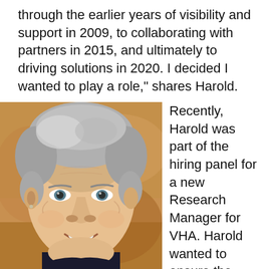through the earlier years of visibility and support in 2009, to collaborating with partners in 2015, and ultimately to driving solutions in 2020. I decided I wanted to play a role," shares Harold.
[Figure (photo): Close-up photo of a smiling middle-aged man with salt-and-pepper hair, wearing a dark shirt, with a warm brownish background.]
Recently, Harold was part of the hiring panel for a new Research Manager for VHA. Harold wanted to ensure the